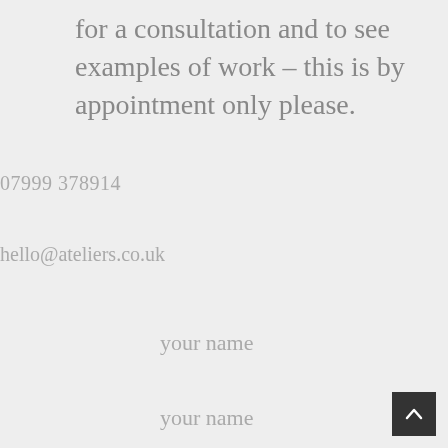for a consultation and to see examples of work – this is by appointment only please.
07999 378914
hello@ateliers.co.uk
your name
your name